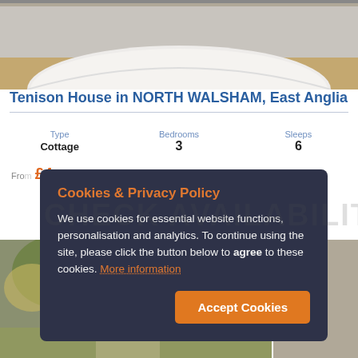[Figure (photo): Top photo showing a curved white wall structure with gravel/stone ground]
Tenison House in NORTH WALSHAM, East Anglia
| Type | Bedrooms | Sleeps |
| --- | --- | --- |
| Cottage | 3 | 6 |
From £4...
Cookies & Privacy Policy
We use cookies for essential website functions, personalisation and analytics. To continue using the site, please click the button below to agree to these cookies. More information
Accept Cookies
[Figure (photo): Bottom area showing two photos: left with trees/garden, right with building exterior]